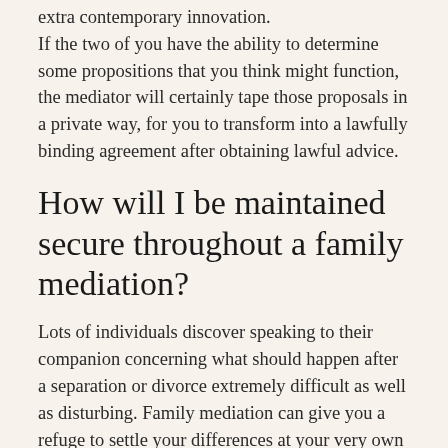extra contemporary innovation. If the two of you have the ability to determine some propositions that you think might function, the mediator will certainly tape those proposals in a private way, for you to transform into a lawfully binding agreement after obtaining lawful advice.
How will I be maintained secure throughout a family mediation?
Lots of individuals discover speaking to their companion concerning what should happen after a separation or divorce extremely difficult as well as disturbing. Family mediation can give you a refuge to settle your differences at your very own speed. Family mediators are specially trained to watch out for any kind of domestic misuse issues that may affect you or family, and additionally for other